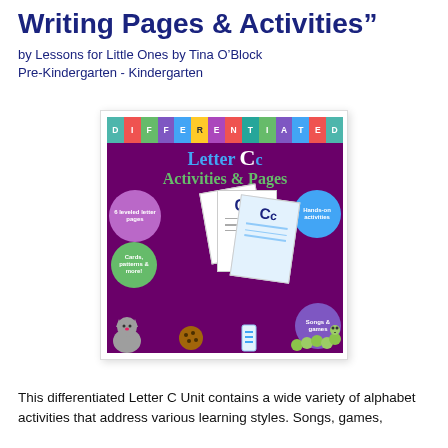Writing Pages & Activities”
by Lessons for Little Ones by Tina O’Block
Pre-Kindergarten - Kindergarten
[Figure (illustration): Book cover for 'Differentiated Letter Cc Activities & Pages' with colorful letter tiles spelling DIFFERENTIATED at top on purple background, featuring bubbles with text: '6 leveled letter pages', 'Cards, patterns & more!', 'Hands-on activities', 'Songs & games'. Shows worksheet pages fanned out, a cat, caterpillar, and cookie clipart.]
This differentiated Letter C Unit contains a wide variety of alphabet activities that address various learning styles. Songs, games,